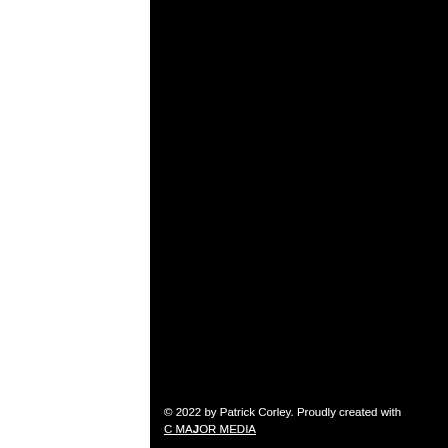[Figure (photo): Large black rectangular area occupying the right portion of the page, representing a dark/black photographic image or cover background.]
© 2022 by Patrick Corley. Proudly created with C MAJOR MEDIA